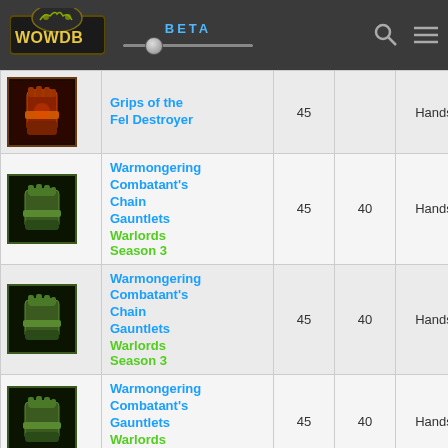WOWDB BETA
| Icon | Name | Level | Req | Slot | Source |
| --- | --- | --- | --- | --- | --- |
| [icon] | Grips of the Fel Destroyer | 45 |  | Hands | Hiding in the Stack |
| [icon] | Warmongering Combatant's Chain Gauntlets Warlords Season 3 | 45 | 40 | Hands |  |
| [icon] | Warmongering Combatant's Chain Gauntlets Warlords Season 3 | 45 | 40 | Hands |  |
| [icon] | Warmongering Combatant's Gauntlets Warlords Season 3 | 45 | 40 | Hands |  |
| [icon] | Warmongering Combatant's Gauntlets | 45 | 40 | Hands |  |